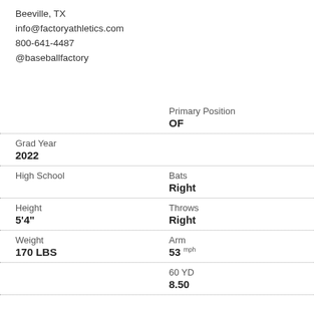Beeville, TX
info@factoryathletics.com
800-641-4487
@baseballfactory
Primary Position
OF
Grad Year
2022
High School
Bats
Right
Height
5'4"
Throws
Right
Weight
170 LBS
Arm
53 mph
60 YD
8.50